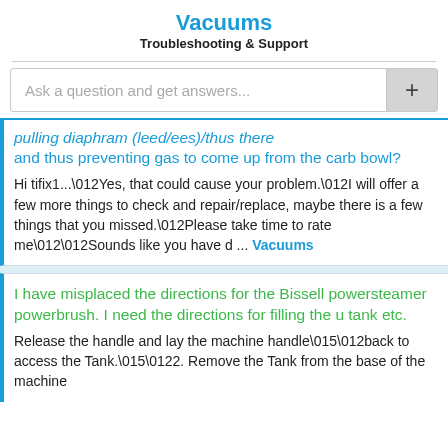Vacuums
Troubleshooting & Support
Ask a question and get answers...
pulling diaphram (leed/ees)/thus there and thus preventing gas to come up from the carb bowl?
Hi tifix1...\012Yes, that could cause your problem.\012I will offer a few more things to check and repair/replace, maybe there is a few things that you missed.\012Please take time to rate me\012\012Sounds like you have d ... Vacuums
I have misplaced the directions for the Bissell powersteamer powerbrush. I need the directions for filling the u tank etc.
Release the handle and lay the machine handle\015\012back to access the Tank.\015\0122. Remove the Tank from the base of the machine